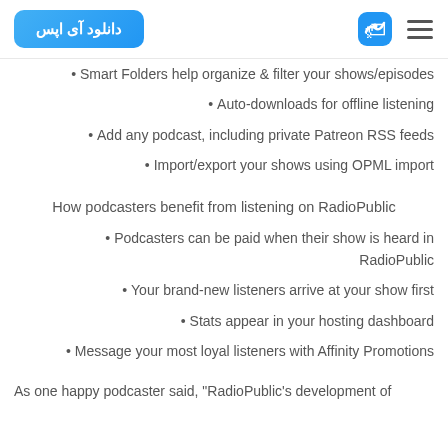دانلود آی اپس
Smart Folders help organize & filter your shows/episodes •
Auto-downloads for offline listening •
Add any podcast, including private Patreon RSS feeds •
Import/export your shows using OPML import •
How podcasters benefit from listening on RadioPublic
Podcasters can be paid when their show is heard in • RadioPublic
Your brand-new listeners arrive at your show first •
Stats appear in your hosting dashboard •
Message your most loyal listeners with Affinity Promotions •
As one happy podcaster said, "RadioPublic's development of